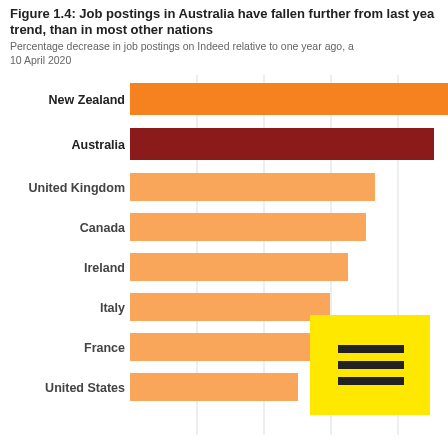[Figure (bar-chart): Figure 1.4: Job postings in Australia have fallen further from last year trend, than in most other nations]